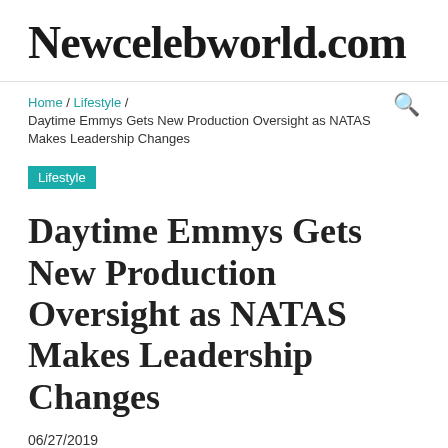Newcelebworld.com
Home / Lifestyle / Daytime Emmys Gets New Production Oversight as NATAS Makes Leadership Changes
Lifestyle
Daytime Emmys Gets New Production Oversight as NATAS Makes Leadership Changes
06/27/2019